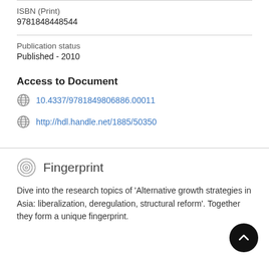ISBN (Print)
9781848448544
Publication status
Published - 2010
Access to Document
10.4337/9781849806886.00011
http://hdl.handle.net/1885/50350
Fingerprint
Dive into the research topics of 'Alternative growth strategies in Asia: liberalization, deregulation, structural reform'. Together they form a unique fingerprint.